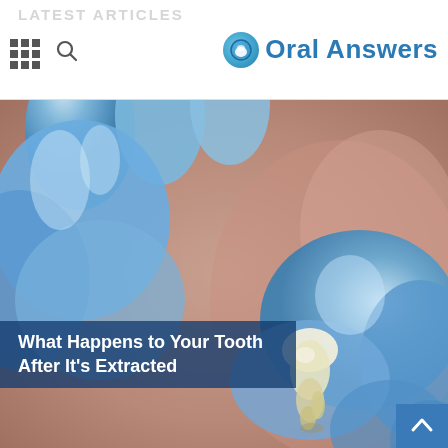LATEST ARTICLES
[Figure (logo): Oral Answers website logo with blue circular icon and text 'Oral Answers']
[Figure (photo): Close-up photo of blue latex gloved hands holding an extracted tooth against a blurred reddish background]
What Happens to Your Tooth After It's Extracted